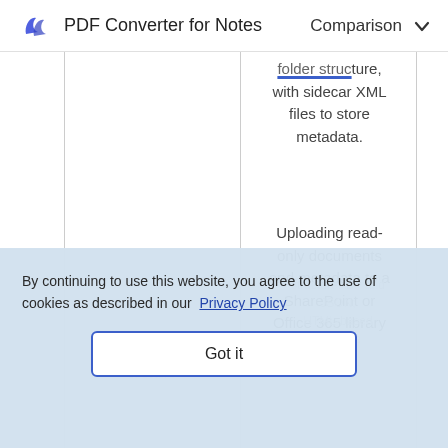PDF Converter for Notes  Comparison
|  |  | folder structure, with sidecar XML files to store metadata. |
|  |  | Uploading read-only documents and metadata to a SharePoint or Office 365 library |
|  | structure | structurePDF and JSON; HTML-based interface |
By continuing to use this website, you agree to the use of cookies as described in our Privacy Policy
Got it